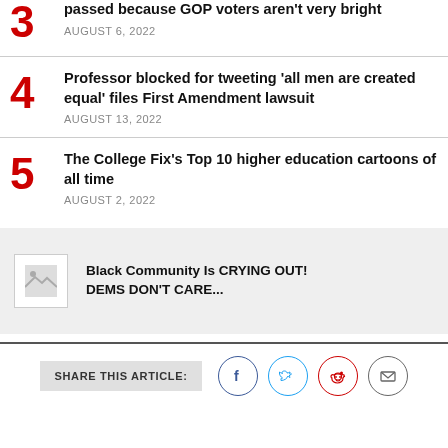3 passed because GOP voters aren't very bright — AUGUST 6, 2022
4 Professor blocked for tweeting 'all men are created equal' files First Amendment lawsuit — AUGUST 13, 2022
5 The College Fix's Top 10 higher education cartoons of all time — AUGUST 2, 2022
[Figure (infographic): Advertisement block with placeholder image and text: Black Community Is CRYING OUT! DEMS DON'T CARE...]
SHARE THIS ARTICLE: